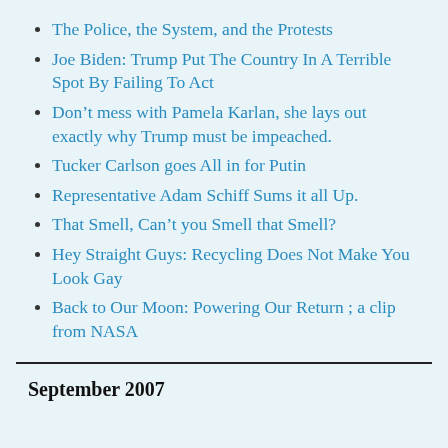The Police, the System, and the Protests
Joe Biden: Trump Put The Country In A Terrible Spot By Failing To Act
Don't mess with Pamela Karlan, she lays out exactly why Trump must be impeached.
Tucker Carlson goes All in for Putin
Representative Adam Schiff Sums it all Up.
That Smell, Can't you Smell that Smell?
Hey Straight Guys: Recycling Does Not Make You Look Gay
Back to Our Moon: Powering Our Return ; a clip from NASA
September 2007